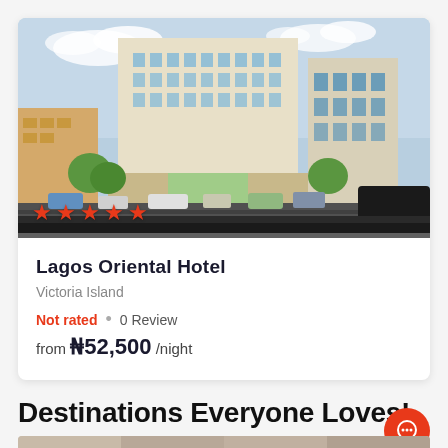[Figure (photo): Exterior photo of Lagos Oriental Hotel, a large multi-story building on Victoria Island, with cars on the road in front and 5 red stars overlaid at the bottom left.]
Lagos Oriental Hotel
Victoria Island
Not rated • 0 Review
from ₦52,500 /night
Destinations Everyone Loves!